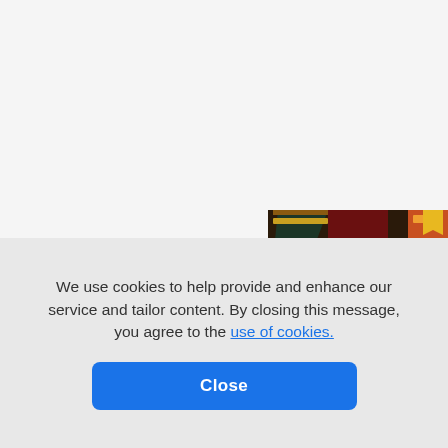[Figure (photo): A theatrical performance scene showing a woman wearing a blue crown/tiara and a yellow dress, surrounded by other performers in colorful costumes on a stage with decorative backdrop.]
We use cookies to help provide and enhance our service and tailor content. By closing this message, you agree to the use of cookies.